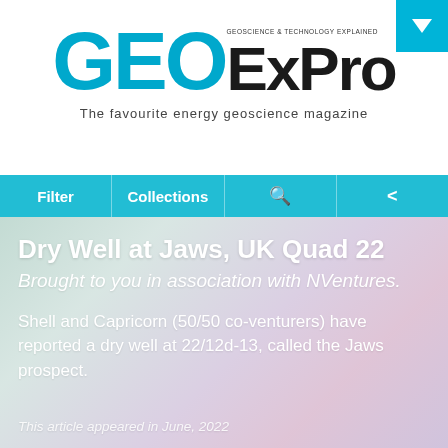GEOExPro — The favourite energy geoscience magazine
[Figure (logo): GEOExPro logo with large cyan GEO letters and black ExPro letters, subtitle GEOSCIENCE & TECHNOLOGY EXPLAINED]
The favourite energy geoscience magazine
Dry Well at Jaws, UK Quad 22
Brought to you in association with NVentures.
Shell and Capricorn (50/50 co-venturers) have reported a dry well at 22/12d-13, called the Jaws prospect.
This article appeared in June, 2022